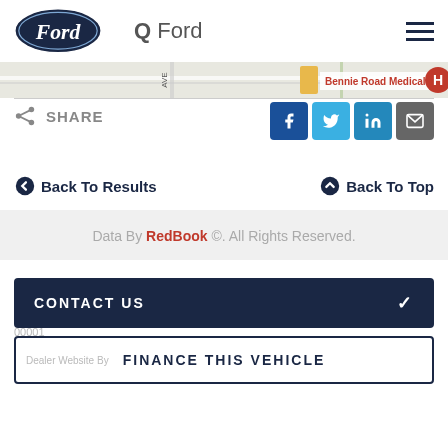[Figure (logo): Ford oval logo in dark navy blue with white Ford script text]
Q Ford
[Figure (map): Partial map strip showing street map with Bennie Road Medical and hospital marker]
SHARE
[Figure (infographic): Social share buttons: Facebook, Twitter, LinkedIn, Email]
Back To Results
Back To Top
Data By RedBook ©. All Rights Reserved.
CONTACT US
FINANCE THIS VEHICLE